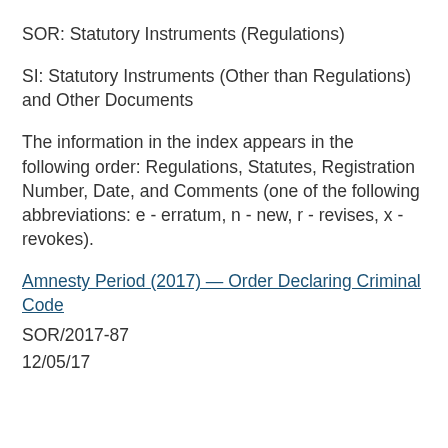SOR: Statutory Instruments (Regulations)
SI: Statutory Instruments (Other than Regulations) and Other Documents
The information in the index appears in the following order: Regulations, Statutes, Registration Number, Date, and Comments (one of the following abbreviations: e - erratum, n - new, r - revises, x - revokes).
Amnesty Period (2017) — Order Declaring Criminal Code
SOR/2017-87
12/05/17